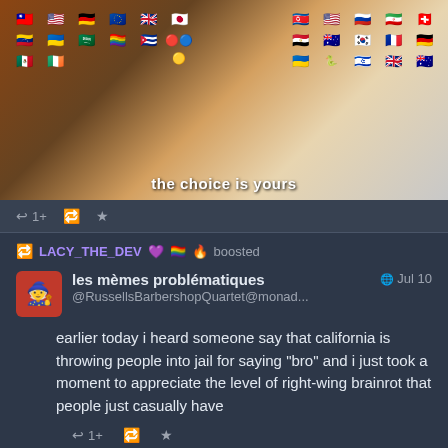[Figure (photo): Meme image showing two figures arm wrestling with many country flags on each side, text at bottom reads 'the choice is yours']
↩ 1+  🔁  ★
🔁 LACY_THE_DEV 💜 🏳️‍🌈 🔥 boosted
les mèmes problématiques
@RussellsBarbershopQuartet@monad...
🌐 Jul 10
earlier today i heard someone say that california is throwing people into jail for saying "bro" and i just took a moment to appreciate the level of right-wing brainrot that people just casually have
↩ 1+  🔁  ★